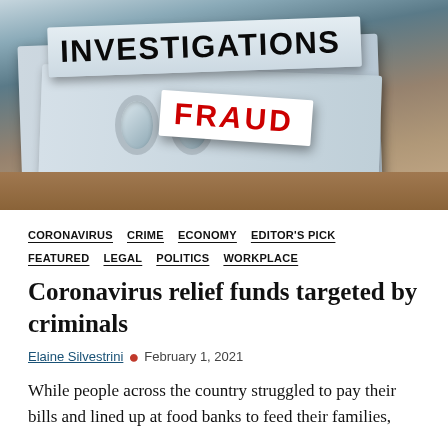[Figure (photo): Photo of filing binders/folders with labels reading 'INVESTIGATIONS' and 'FRAUD' in red text, with metallic binder clips visible]
CORONAVIRUS   CRIME   ECONOMY   EDITOR'S PICK   FEATURED   LEGAL   POLITICS   WORKPLACE
Coronavirus relief funds targeted by criminals
Elaine Silvestrini • February 1, 2021
While people across the country struggled to pay their bills and lined up at food banks to feed their families, authorities say...